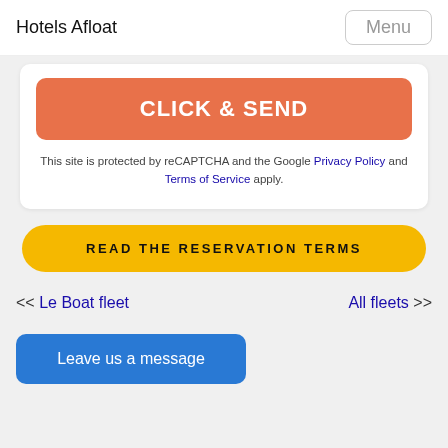Hotels Afloat  Menu
[Figure (screenshot): Orange 'CLICK & SEND' button inside a white card]
This site is protected by reCAPTCHA and the Google Privacy Policy and Terms of Service apply.
[Figure (screenshot): Yellow 'READ THE RESERVATION TERMS' button]
<< Le Boat fleet    All fleets >>
[Figure (screenshot): Blue 'Leave us a message' button at bottom]